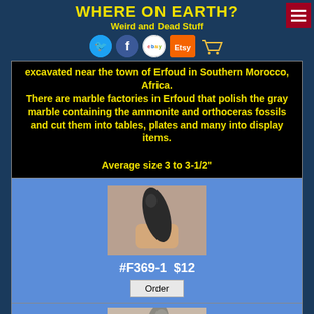WHERE ON EARTH? Weird and Dead Stuff
excavated near the town of Erfoud in Southern Morocco, Africa. There are marble factories in Erfoud that polish the gray marble containing the ammonite and orthoceras fossils and cut them into tables, plates and many into display items. Average size 3 to 3-1/2"
[Figure (photo): A hand holding a dark elongated orthoceras fossil against a light background]
#F369-1  $12
Order
[Figure (photo): A hand holding a lighter colored orthoceras fossil, partially visible at page bottom]